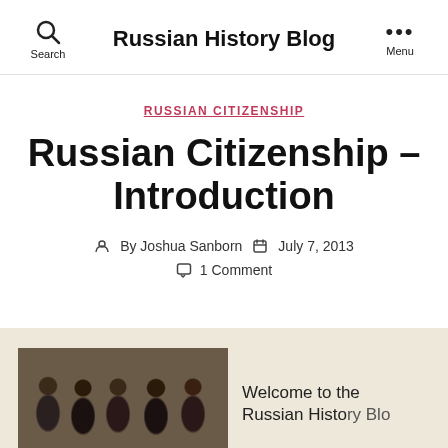Russian History Blog
RUSSIAN CITIZENSHIP
Russian Citizenship – Introduction
By Joshua Sanborn   July 7, 2013   1 Comment
[Figure (photo): Black and white historical group photo of people]
Welcome to the Russian History Blo...